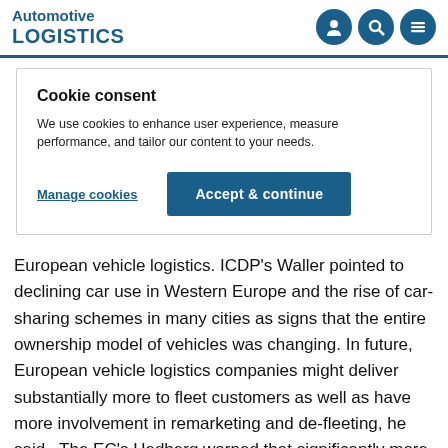Automotive LOGISTICS
Cookie consent
We use cookies to enhance user experience, measure performance, and tailor our content to your needs.
Manage cookies | Accept & continue
European vehicle logistics. ICDP's Waller pointed to declining car use in Western Europe and the rise of car-sharing schemes in many cities as signs that the entire ownership model of vehicles was changing. In future, European vehicle logistics companies might deliver substantially more to fleet customers as well as have more involvement in remarketing and de-fleeting, he said.  The EC's Hedberg warned that significantly more investment in transport infrastructure was needed for